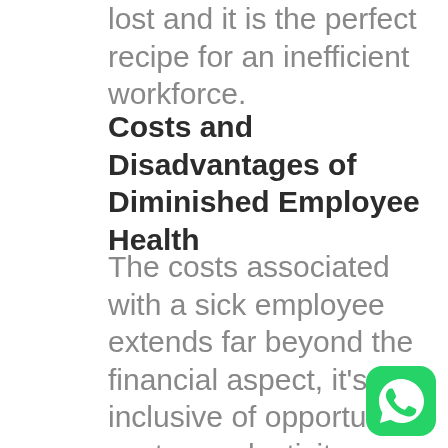lost and it is the perfect recipe for an inefficient workforce.
Costs and Disadvantages of Diminished Employee Health
The costs associated with a sick employee extends far beyond the financial aspect, it's inclusive of opportunity costs, productivity losses, and long-term disengagement.